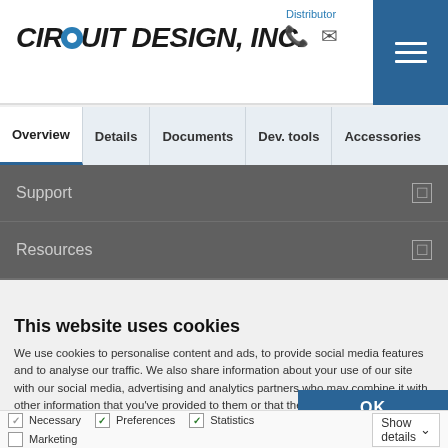[Figure (logo): Circuit Design, Inc. logo in bold italic with stylized O]
Distributor
Overview   Details   Documents   Dev. tools   Accessories
Support
Resources
This website uses cookies
We use cookies to personalise content and ads, to provide social media features and to analyse our traffic. We also share information about your use of our site with our social media, advertising and analytics partners who may combine it with other information that you've provided to them or that they've collected from your use of their services. You consent to our cookies if you continue to use our website.
OK
Necessary   Preferences   Statistics   Marketing   Show details